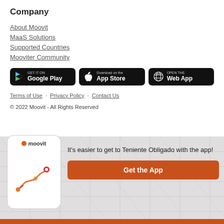Company
About Moovit
MaaS Solutions
Supported Countries
Mooviter Community
[Figure (other): Three app download buttons: GET IT ON Google Play, Download on the App Store, OPEN THE Web App]
Terms of Use · Privacy Policy · Contact Us
© 2022 Moovit - All Rights Reserved
[Figure (screenshot): Moovit app promotional banner showing phone with map route and text: It's easier to get to Teniente Obligado with the app! with a Get the App button.]